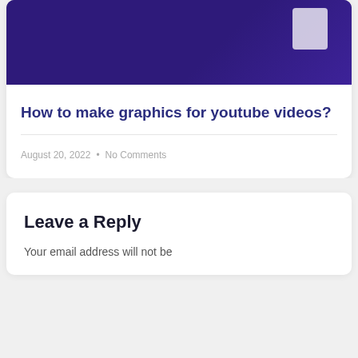[Figure (photo): Dark purple banner image with a white box element visible in the upper right area]
How to make graphics for youtube videos?
August 20, 2022 • No Comments
Leave a Reply
Your email address will not be